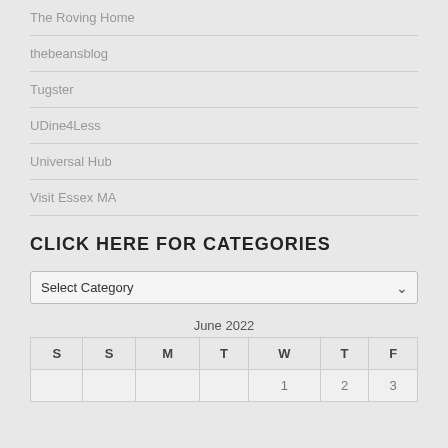The Roving Home
thebeansblog
Tugster
UDine4Less
Universal Hub
Visit Essex MA
CLICK HERE FOR CATEGORIES
Select Category
| S | S | M | T | W | T | F |
| --- | --- | --- | --- | --- | --- | --- |
|  |  |  |  | 1 | 2 | 3 |